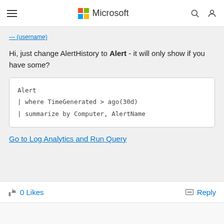Microsoft
Hi, just change AlertHistory to Alert - it will only show if you have some?
Go to Log Analytics and Run Query
0 Likes
Reply